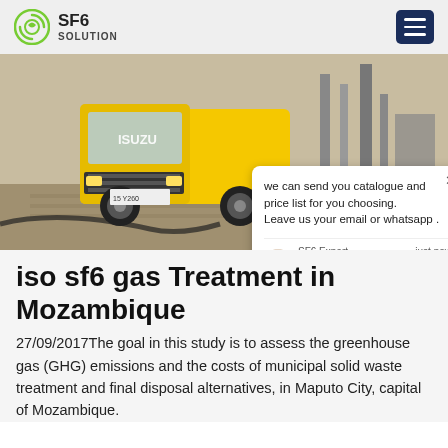SF6 SOLUTION
[Figure (photo): Yellow Isuzu truck at an industrial site with pipes and equipment in the background. A chat popup overlay is visible on the right side of the image.]
iso sf6 gas Treatment in Mozambique
27/09/2017The goal in this study is to assess the greenhouse gas (GHG) emissions and the costs of municipal solid waste treatment and final disposal alternatives, in Maputo City, capital of Mozambique.